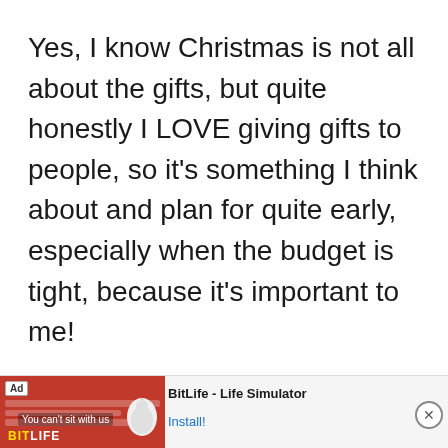Yes, I know Christmas is not all about the gifts, but quite honestly I LOVE giving gifts to people, so it's something I think about and plan for quite early, especially when the budget is tight, because it's important to me!

Even though we aren't quite as strapped budget-wise anymore, I always feel like Christmas has just
[Figure (screenshot): Advertisement banner at bottom of page for BitLife - Life Simulator app, showing red background with app imagery, Ad badge, BitLife logo, and Install button]